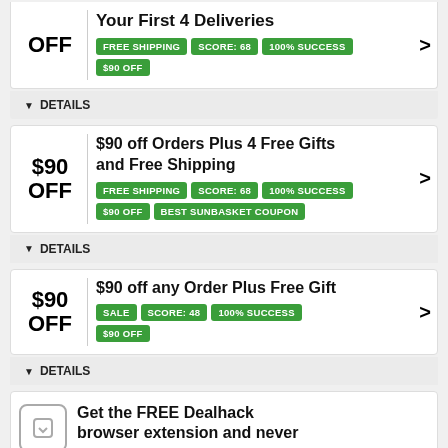OFF Your First 4 Deliveries | FREE SHIPPING | SCORE: 68 | 100% SUCCESS | $90 OFF
▼ DETAILS
$90 off Orders Plus 4 Free Gifts and Free Shipping
FREE SHIPPING | SCORE: 68 | 100% SUCCESS | $90 OFF | BEST SUNBASKET COUPON
▼ DETAILS
$90 off any Order Plus Free Gift
SALE | SCORE: 48 | 100% SUCCESS | $90 OFF
▼ DETAILS
Get the FREE Dealhack browser extension and never